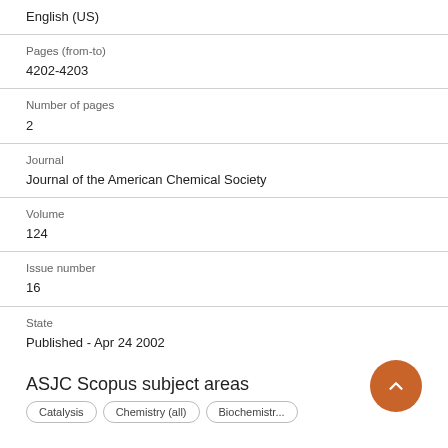English (US)
Pages (from-to)
4202-4203
Number of pages
2
Journal
Journal of the American Chemical Society
Volume
124
Issue number
16
State
Published - Apr 24 2002
ASJC Scopus subject areas
Catalysis    Chemistry (all)    Biochemistry